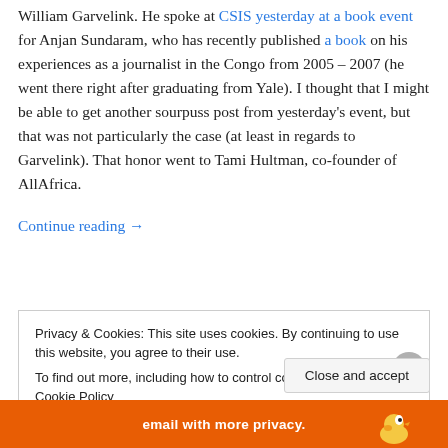William Garvelink. He spoke at CSIS yesterday at a book event for Anjan Sundaram, who has recently published a book on his experiences as a journalist in the Congo from 2005 – 2007 (he went there right after graduating from Yale). I thought that I might be able to get another sourpuss post from yesterday's event, but that was not particularly the case (at least in regards to Garvelink). That honor went to Tami Hultman, co-founder of AllAfrica.
Continue reading →
Privacy & Cookies: This site uses cookies. By continuing to use this website, you agree to their use. To find out more, including how to control cookies, see here: Cookie Policy
Close and accept
[Figure (screenshot): Bottom banner with orange background showing 'email with more privacy.' and a cartoon duck logo]